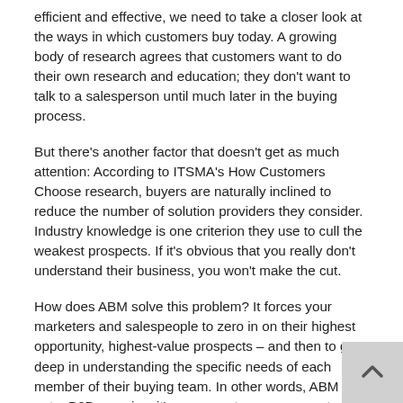efficient and effective, we need to take a closer look at the ways in which customers buy today. A growing body of research agrees that customers want to do their own research and education; they don't want to talk to a salesperson until much later in the buying process.
But there's another factor that doesn't get as much attention: According to ITSMA's How Customers Choose research, buyers are naturally inclined to reduce the number of solution providers they consider. Industry knowledge is one criterion they use to cull the weakest prospects. If it's obvious that you really don't understand their business, you won't make the cut.
How does ABM solve this problem? It forces your marketers and salespeople to zero in on their highest opportunity, highest-value prospects – and then to go deep in understanding the specific needs of each member of their buying team. In other words, ABM is not a B2B exercise; it's a person-to-person, one-to-one mindset.
Instead of flooding the market with content and messaging, your marketing and sales teams can take a